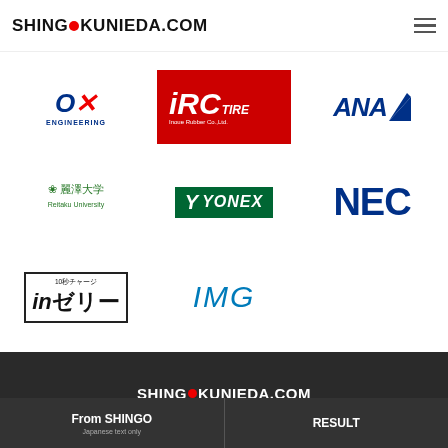SHINGO KUNIEDA.COM
[Figure (logo): Sponsor logos grid: OX Engineering, IRC Tire, ANA, Reitaku University, Yonex, NEC, in-jelly (10秒チャージ inゼリー), IMG]
[Figure (logo): SHINGO KUNIEDA.COM footer logo with red dot]
Pro wheelchair tennis player Shingo Kunieda official website
From SHINGO
Japanese text only
RESULT